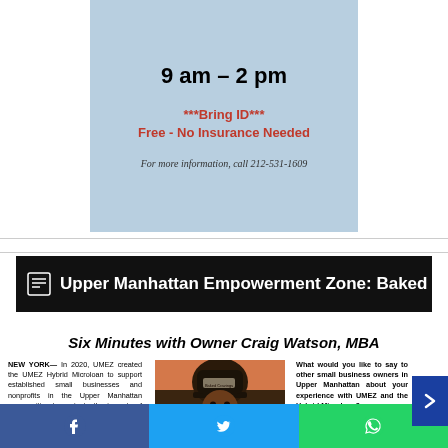9 am – 2 pm
***Bring ID***
Free - No Insurance Needed
For more information, call 212-531-1609
Upper Manhattan Empowerment Zone: Baked Cravings
Six Minutes with Owner Craig Watson, MBA
NEW YORK— In 2020, UMEZ created the UMEZ Hybrid Microloan to support established small businesses and nonprofits in the Upper Manhattan communities to navigate the impacts of the COVID-19 pandemic. This
[Figure (photo): Photo of a man wearing a 'Baked Cravings' cap and a blue mask]
What would you like to say to other small business owners in Upper Manhattan about your experience with UMEZ and the Hybrid Microloan?
The experience was great, the team is awesome!
Social share bar: Facebook, Twitter, WhatsApp